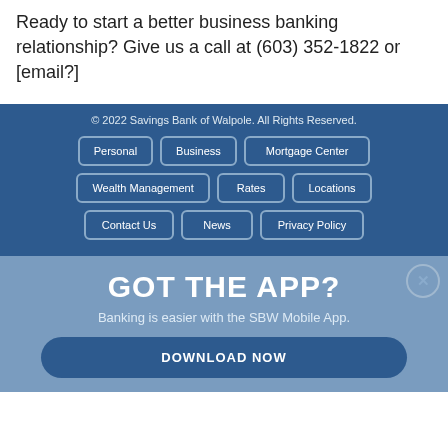Ready to start a better business banking relationship? Give us a call at (603) 352-1822 or [email?]
© 2022 Savings Bank of Walpole. All Rights Reserved.
Personal
Business
Mortgage Center
Wealth Management
Rates
Locations
Contact Us
News
Privacy Policy
GOT THE APP?
Banking is easier with the SBW Mobile App.
DOWNLOAD NOW